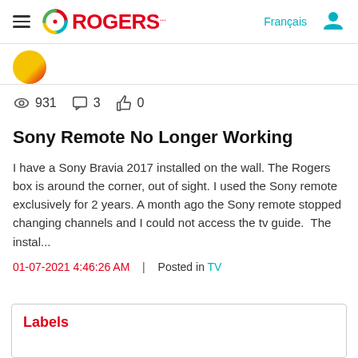Rogers community forum navigation bar with hamburger menu, Rogers logo, Français link, and user icon
931 views  3 comments  0 likes
Sony Remote No Longer Working
I have a Sony Bravia 2017 installed on the wall. The Rogers box is around the corner, out of sight. I used the Sony remote exclusively for 2 years. A month ago the Sony remote stopped changing channels and I could not access the tv guide.  The instal...
01-07-2021 4:46:26 AM  |  Posted in TV
Labels